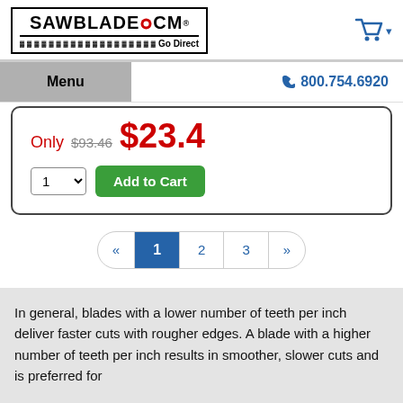[Figure (logo): SAWBLADE.COM Go Direct logo in a black-bordered box]
Menu  800.754.6920
Only $93.40  $23.4_
1 (dropdown)  Add to Cart
« 1 2 3 »  (pagination)
In general, blades with a lower number of teeth per inch deliver faster cuts with rougher edges. A blade with a higher number of teeth per inch results in smoother, slower cuts and is preferred for